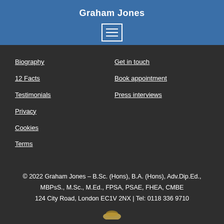Graham Jones
[Figure (other): Menu/hamburger icon — square with three horizontal lines]
Biography
Get in touch
12 Facts
Book appointment
Testimonials
Press interviews
Privacy
Cookies
Terms
© 2022 Graham Jones – B.Sc. (Hons), B.A. (Hons), Adv.Dip.Ed., MBPsS., M.Sc., M.Ed., FPSA, PSAE, FHEA, CMBE
124 City Road, London EC1V 2NX | Tel: 0118 336 9710